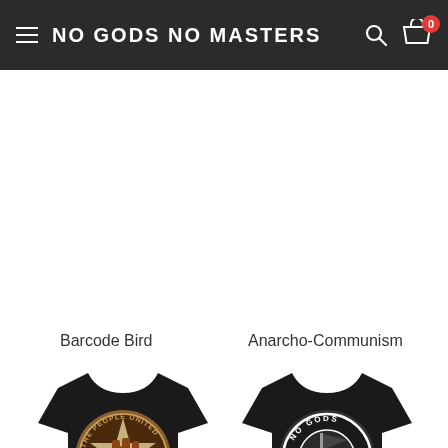NO GODS NO MASTERS
Barcode Bird
Anarcho-Communism
[Figure (photo): Black t-shirt with circular design showing a raised fist and star, text reading THE PEOPLE UNITED WILL NEVER BE DEFEATED]
[Figure (photo): Black t-shirt with circular design showing a black flag, text reading NO GODS NO MASTERS]